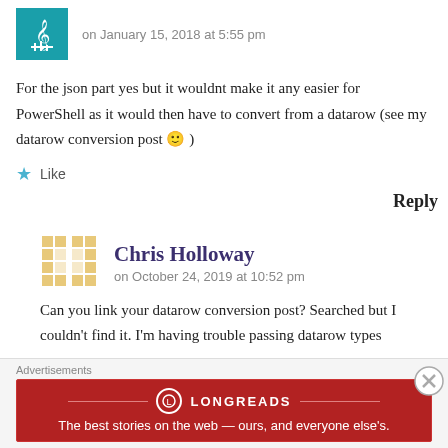on January 15, 2018 at 5:55 pm
For the json part yes but it wouldnt make it any easier for PowerShell as it would then have to convert from a datarow (see my datarow conversion post 🙂 )
Like
Reply
Chris Holloway
on October 24, 2019 at 10:52 pm
Can you link your datarow conversion post? Searched but I couldn't find it. I'm having trouble passing datarow types through...
Advertisements
The best stories on the web — ours, and everyone else's.